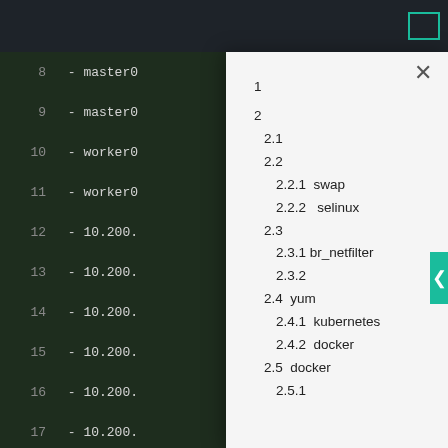[Figure (screenshot): Dark-themed code editor showing lines 8-22 with YAML-like content including master, worker, 10.200.x entries, controlPlane, networking, podSubnet labels in yellow. A white modal overlay panel appears on the right side showing a table of contents with numbered entries: 1, 2, 2.1, 2.2, 2.2.1 swap, 2.2.2 selinux, 2.3, 2.3.1 br_netfilter, 2.3.2, 2.4 yum, 2.4.1 kubernetes, 2.4.2 docker, 2.5 docker, 2.5.1. A teal close button (×) is at the top right of the modal. A teal side navigation tab with a left arrow is visible on the far right.]